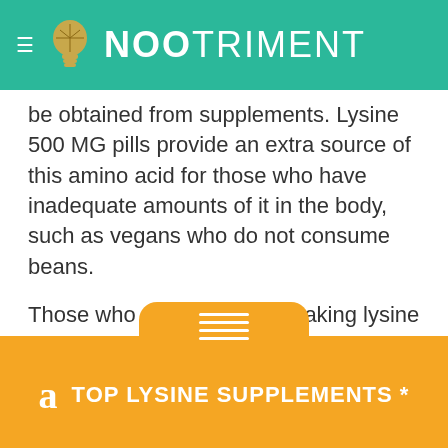NOOTRIMENT
be obtained from supplements. Lysine 500 MG pills provide an extra source of this amino acid for those who have inadequate amounts of it in the body, such as vegans who do not consume beans.
Those who are considering taking lysine 500 MG pills should understand what they are commonly used for and what effects they have. It is also important to know the potential side effects and drug interactions associated with lysine supplements.
TOP LYSINE SUPPLEMENTS *